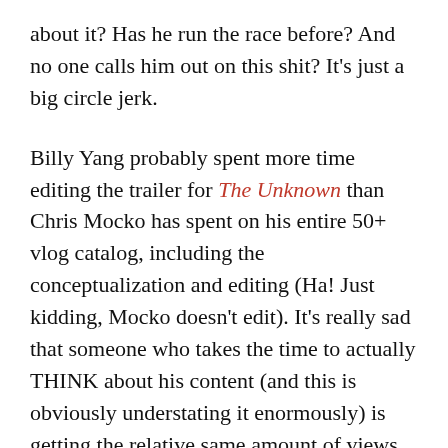about it?  Has he run the race before? And no one calls him out on this shit?  It's just a big circle jerk.
Billy Yang probably spent more time editing the trailer for The Unknown than Chris Mocko has spent on his entire 50+ vlog catalog, including the conceptualization and editing (Ha! Just kidding, Mocko doesn't edit).  It's really sad that someone who takes the time to actually THINK about his content (and this is obviously understating it enormously) is getting the relative same amount of views as someone like Mocko or Canaday.
(Full disclosure: I have never watched a Sage Canaday v-log.  A long time ago, my Youtube autoplay cued up one of his videos and he was supposedly just finishing a